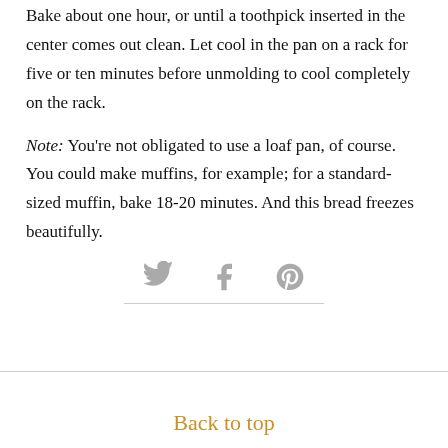Bake about one hour, or until a toothpick inserted in the center comes out clean. Let cool in the pan on a rack for five or ten minutes before unmolding to cool completely on the rack.
Note: You're not obligated to use a loaf pan, of course. You could make muffins, for example; for a standard-sized muffin, bake 18-20 minutes. And this bread freezes beautifully.
[Figure (illustration): Social sharing icons: Twitter bird, Facebook f, Pinterest P circle — rendered in light grey]
Back to top